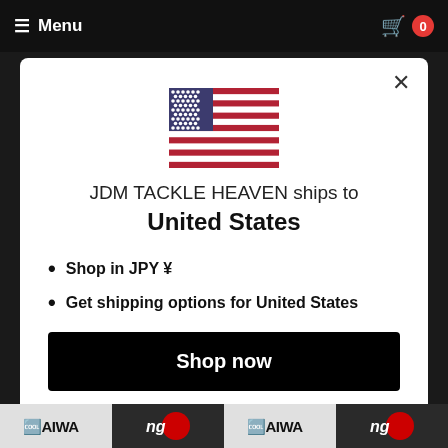Menu
[Figure (illustration): United States flag emoji displayed at center top of modal]
JDM TACKLE HEAVEN ships to
United States
Shop in JPY ¥
Get shipping options for United States
Shop now
Change shipping country